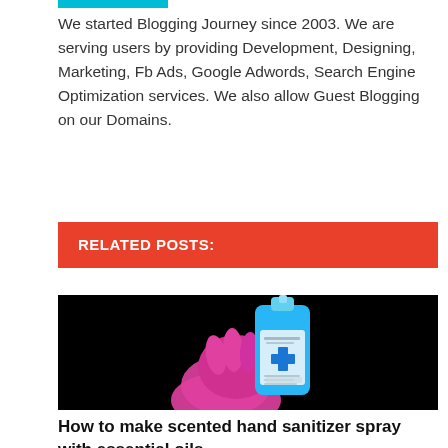We started Blogging Journey since 2003. We are serving users by providing Development, Designing, Marketing, Fb Ads, Google Adwords, Search Engine Optimization services. We also allow Guest Blogging on our Domains.
RELATED POSTS:
[Figure (photo): A hand wearing a pink glove holding a blue bottle of hand sanitizer gel against a black background]
How to make scented hand sanitizer spray with essential oils